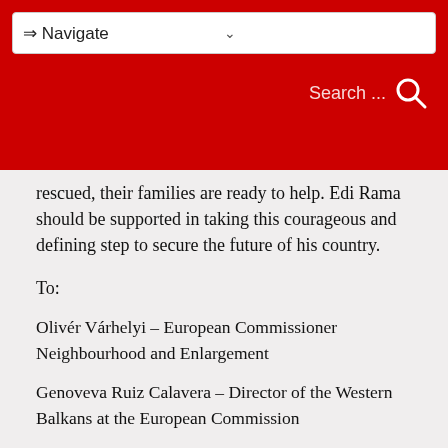⇒ Navigate
rescued, their families are ready to help. Edi Rama should be supported in taking this courageous and defining step to secure the future of his country.
To:
Olivér Várhelyi – European Commissioner Neighbourhood and Enlargement
Genoveva Ruiz Calavera – Director of the Western Balkans at the European Commission
Isabel Santos – EP Standing Rapporteur on Albania